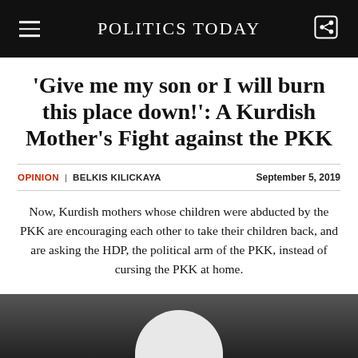POLITICS TODAY
'Give me my son or I will burn this place down!': A Kurdish Mother's Fight against the PKK
OPINION | BELKIS KILICKAYA    September 5, 2019
Now, Kurdish mothers whose children were abducted by the PKK are encouraging each other to take their children back, and are asking the HDP, the political arm of the PKK, instead of cursing the PKK at home.
[Figure (photo): Partial photo of a person wearing a white cap/hat, dark background, visible at the bottom of the page]